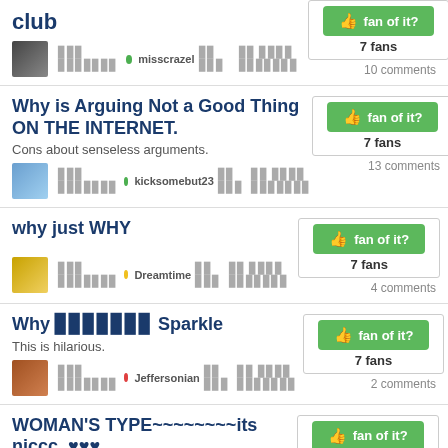club — misscrazel — 7 fans — 10 comments
Why is Arguing Not a Good Thing ON THE INTERNET. Cons about senseless arguments. kicksomebut23 — 7 fans — 13 comments
why just WHY — Dreamtime — 7 fans — 4 comments
Why ███████ Sparkle — This is hilarious. — Jeffersonian — 7 fans — 2 comments
WOMAN'S TYPE~~~~~~~~its niccc..♥♥♥ — scarlet009 — 7 fans — 4 comments